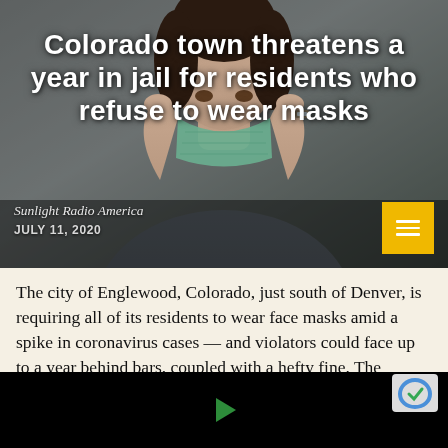[Figure (photo): Woman wearing a green face mask adjusting it with both hands, blurred background. Hero image for news article.]
Colorado town threatens a year in jail for residents who refuse to wear masks
Sunlight Radio America
JULY 11, 2020
The city of Englewood, Colorado, just south of Denver, is requiring all of its residents to wear face masks amid a spike in coronavirus cases — and violators could face up to a year behind bars, coupled with a hefty fine. The emergency order, issued by City Manager J. Shawn Lewis